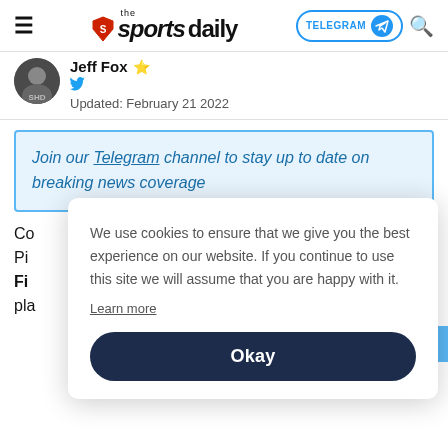the sportsdaily | TELEGRAM | Search
Jeff Fox ★
Updated: February 21 2022
Join our Telegram channel to stay up to date on breaking news coverage
We use cookies to ensure that we give you the best experience on our website. If you continue to use this site we will assume that you are happy with it.
Learn more
Okay